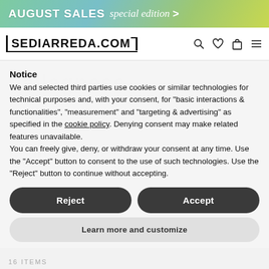AUGUST SALES special edition >
[Figure (logo): SEDIARREDA.COM logo with bracket styling, search, heart, bag, and menu icons]
Notice
We and selected third parties use cookies or similar technologies for technical purposes and, with your consent, for “basic interactions & functionalities”, “measurement” and “targeting & advertising” as specified in the cookie policy. Denying consent may make related features unavailable.
You can freely give, deny, or withdraw your consent at any time. Use the “Accept” button to consent to the use of such technologies. Use the “Reject” button to continue without accepting.